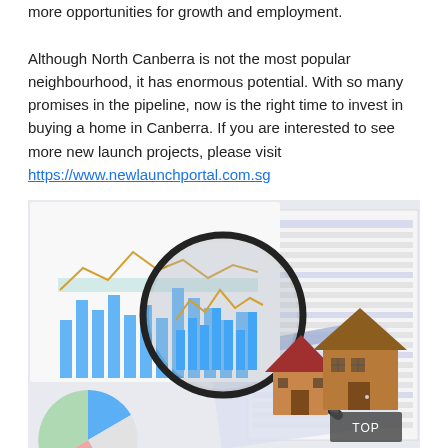more opportunities for growth and employment.

Although North Canberra is not the most popular neighbourhood, it has enormous potential. With so many promises in the pipeline, now is the right time to invest in buying a home in Canberra. If you are interested to see more new launch projects, please visit https://www.newlaunchportal.com.sg
[Figure (photo): Photo showing a magnifying glass over financial charts with bar graphs and a line chart, alongside two small wooden house models representing real estate investment, with spreadsheet documents in the background. A dark 'TOP' button overlay appears in the bottom right corner.]